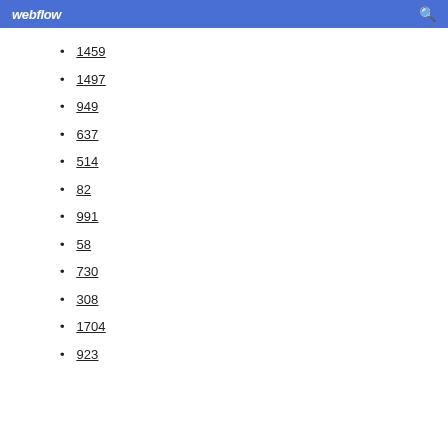webflow
1459
1497
949
637
514
82
991
58
730
308
1704
923